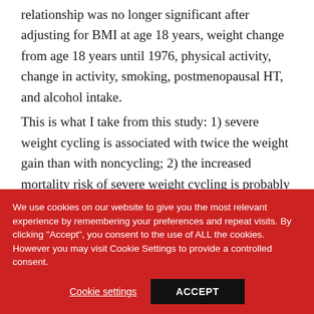relationship was no longer significant after adjusting for BMI at age 18 years, weight change from age 18 years until 1976, physical activity, change in activity, smoking, postmenopausal HT, and alcohol intake.
This is what I take from this study: 1) severe weight cycling is associated with twice the weight gain than with noncycling; 2) the increased mortality risk of severe weight cycling is probably more related to the increased
We use cookies on our website to give you the most relevant experience by remembering your preferences and repeat visits. By clicking "Accept", you consent to the use of ALL the cookies. However you may visit Cookie Settings to provide a controlled consent.